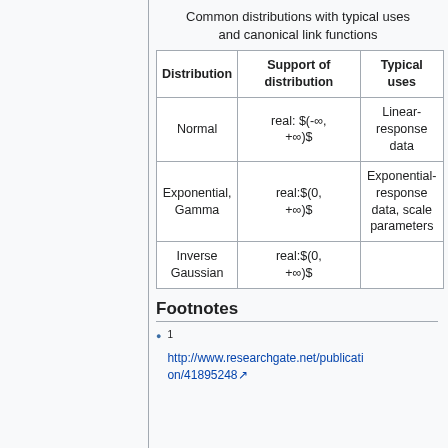Common distributions with typical uses and canonical link functions
| Distribution | Support of distribution | Typical uses |
| --- | --- | --- |
| Normal | real: $(-∞, +∞)$ | Linear-response data |
| Exponential, Gamma | real:$(0, +∞)$ | Exponential-response data, scale parameters |
| Inverse Gaussian | real:$(0, +∞)$ |  |
Footnotes
1 http://www.researchgate.net/publication/41895248